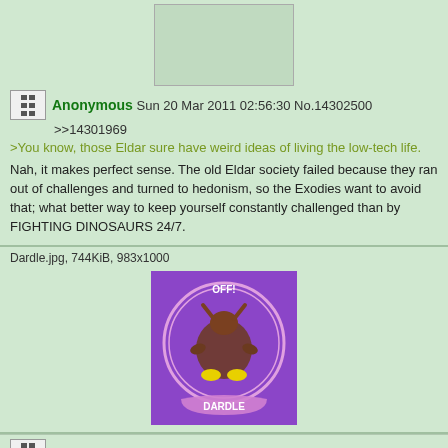[Figure (other): Placeholder thumbnail image, gray-green box]
Anonymous Sun 20 Mar 2011 02:56:30 No.14302500
>>14301969
>You know, those Eldar sure have weird ideas of living the low-tech life.
Nah, it makes perfect sense. The old Eldar society failed because they ran out of challenges and turned to hedonism, so the Exodies want to avoid that; what better way to keep yourself constantly challenged than by FIGHTING DINOSAURS 24/7.
Dardle.jpg, 744KiB, 983x1000
[Figure (illustration): Dardle.jpg - circular logo on purple background with a creature/character, text DARDLE on banner below]
Anonymous Sun 20 Mar 2011 02:58:30 No.14302514
>>14302476
>The reformed "you" would just be a construct with your personality,